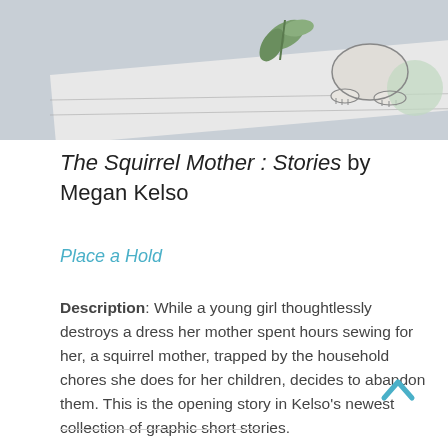[Figure (illustration): Book cover illustration showing a squirrel mother figure and a young girl on a floor, with plant elements in the background, rendered in a soft green and grey color palette.]
The Squirrel Mother : Stories by Megan Kelso
Place a Hold
Description: While a young girl thoughtlessly destroys a dress her mother spent hours sewing for her, a squirrel mother, trapped by the household chores she does for her children, decides to abandon them. This is the opening story in Kelso's newest collection of graphic short stories.